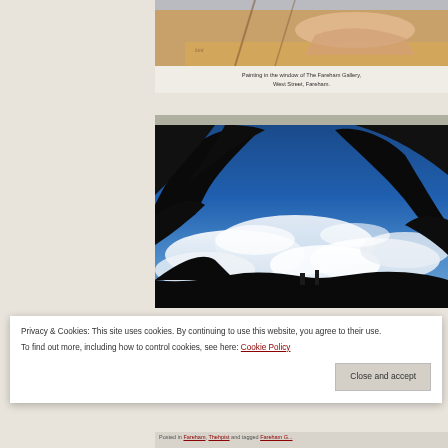[Figure (photo): Painting visible in window of The Fareham Gallery, showing figures at a table with warm tones]
Painting in the window of The Fareham Gallery, West Street, Fareham.
[Figure (photo): Outdoor photograph looking upward through dark silhouetted tree branches against a vivid blue sky with white clouds, buildings visible at bottom]
Privacy & Cookies: This site uses cookies. By continuing to use this website, you agree to their use.
To find out more, including how to control cookies, see here: Cookie Policy
Close and accept
Posted in Fareham, Thehpist and tagged Fareham G...